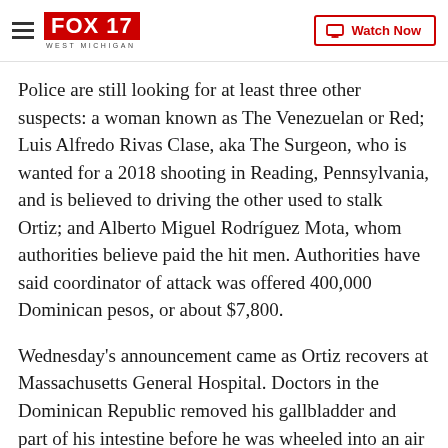FOX 17 WEST MICHIGAN | Watch Now
Police are still looking for at least three other suspects: a woman known as The Venezuelan or Red; Luis Alfredo Rivas Clase, aka The Surgeon, who is wanted for a 2018 shooting in Reading, Pennsylvania, and is believed to driving the other used to stalk Ortiz; and Alberto Miguel Rodríguez Mota, whom authorities believe paid the hit men. Authorities have said coordinator of attack was offered 400,000 Dominican pesos, or about $7,800.
Wednesday's announcement came as Ortiz recovers at Massachusetts General Hospital. Doctors in the Dominican Republic removed his gallbladder and part of his intestine before he was wheeled into an air